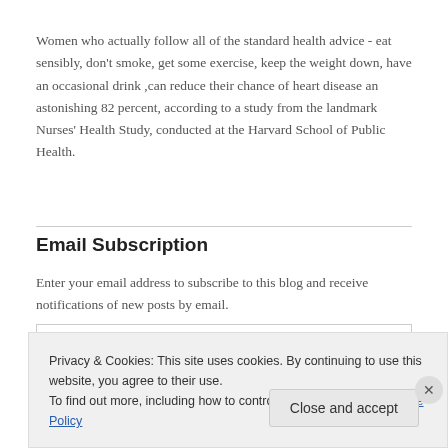Women who actually follow all of the standard health advice - eat sensibly, don't smoke, get some exercise, keep the weight down, have an occasional drink ,can reduce their chance of heart disease an astonishing 82 percent, according to a study from the landmark Nurses' Health Study, conducted at the Harvard School of Public Health.
Email Subscription
Enter your email address to subscribe to this blog and receive notifications of new posts by email.
Privacy & Cookies: This site uses cookies. By continuing to use this website, you agree to their use.
To find out more, including how to control cookies, see here: Cookie Policy